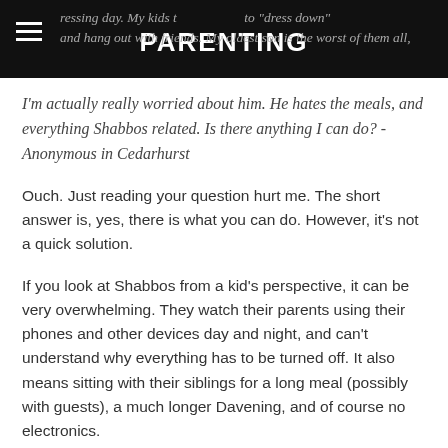PARENTING
ressing day. My kids u... to "dress down" and hang out with friends. My oldest son is the worst of them all, I'm actually really worried about him. He hates the meals, and everything Shabbos related. Is there anything I can do? - Anonymous in Cedarhurst
Ouch. Just reading your question hurt me. The short answer is, yes, there is what you can do. However, it's not a quick solution.
If you look at Shabbos from a kid's perspective, it can be very overwhelming. They watch their parents using their phones and other devices day and night, and can't understand why everything has to be turned off. It also means sitting with their siblings for a long meal (possibly with guests), a much longer Davening, and of course no electronics.